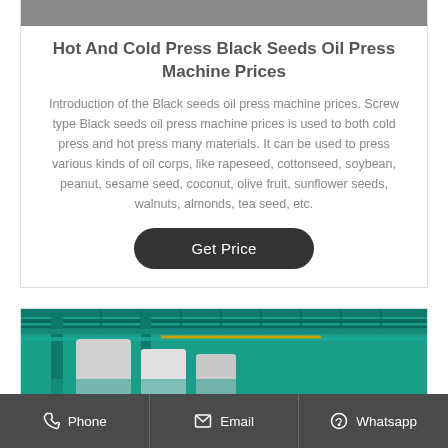[Figure (photo): Partial top image, appears to be industrial equipment or ceiling]
Hot And Cold Press Black Seeds Oil Press Machine Prices
Introduction of the Black seeds oil press machine prices. Screw type Black seeds oil press machine prices is used to both cold press and hot press many materials. It can be used to press various kinds of oil corps, like rapeseed, cottonseed, soybean, peanut, sesame seed, coconut, olive fruit, sunflower seeds, walnuts, almonds, tea seed, etc.
[Figure (other): Get Price button — dark rounded rectangle]
[Figure (photo): Industrial facility interior with green painted steel structure and pipes on ceiling]
Phone  Email  Whatsapp